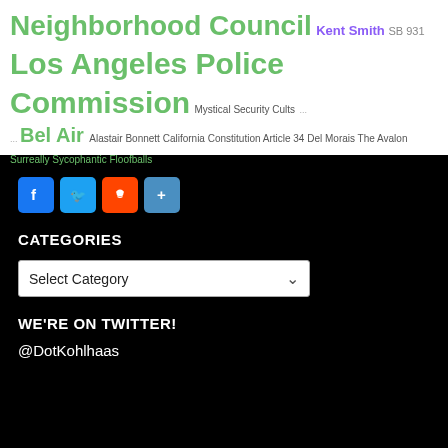[Figure (other): Tag cloud with various political/civic topics in different colors and sizes: Neighborhood Council, Kent Smith, SB 931, Los Angeles Police Commission, Mystical Security Cults, Bel Air, Alastair Bonnett, California Constitution Article 34, Del Morais, The Avalon, Surreally Sycophantic Floofballs]
[Figure (other): Social share buttons: Facebook (blue), Twitter (blue), Reddit (orange-red), Share (blue)]
CATEGORIES
Select Category
WE'RE ON TWITTER!
@DotKohlhaas